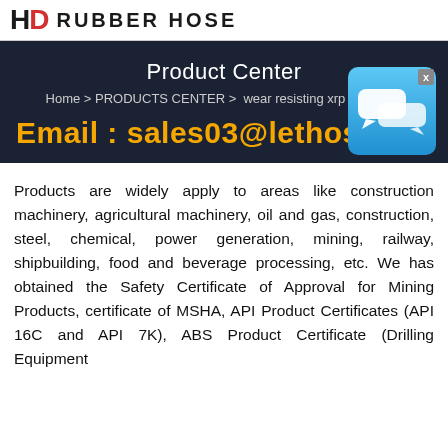HD RUBBER HOSE
Product Center
Home > PRODUCTS CENTER > wear resisting xrp ptfe hose
Email : sales03@lethose.com
[Figure (illustration): Chat icon bubble in blue with an X close button]
Products are widely apply to areas like construction machinery, agricultural machinery, oil and gas, construction, steel, chemical, power generation, mining, railway, shipbuilding, food and beverage processing, etc. We has obtained the Safety Certificate of Approval for Mining Products, certificate of MSHA, API Product Certificates (API 16C and API 7K), ABS Product Certificate (Drilling Equipment